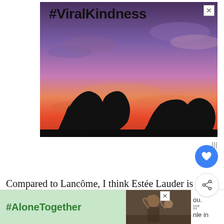[Figure (photo): Advertisement image with #ViralKindness text over a photo of two hands making a heart shape silhouetted against a colorful sunset sky with purple, blue, and orange/red hues. A small X close button is in the top-right corner.]
Compared to Lancôme, I think Estée Lauder is more popular among users. This
[Figure (photo): Bottom advertisement banner with #AloneTogether text on a green background on the left, and a photo of a man and child waving on the right. A small X close button is visible. Partial text visible on right side.]